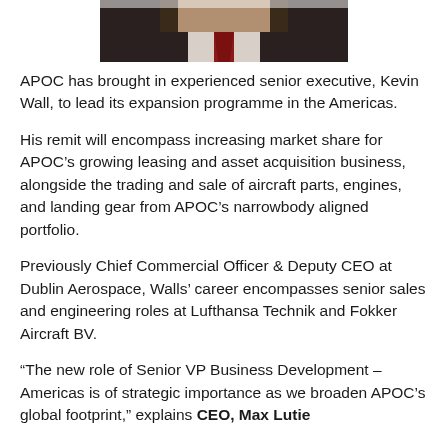[Figure (photo): Partial photo of a person in a suit and tie, cropped at the top of the page]
APOC has brought in experienced senior executive, Kevin Wall, to lead its expansion programme in the Americas.
His remit will encompass increasing market share for APOC’s growing leasing and asset acquisition business, alongside the trading and sale of aircraft parts, engines, and landing gear from APOC’s narrowbody aligned portfolio.
Previously Chief Commercial Officer & Deputy CEO at Dublin Aerospace, Walls’ career encompasses senior sales and engineering roles at Lufthansa Technik and Fokker Aircraft BV.
“The new role of Senior VP Business Development – Americas is of strategic importance as we broaden APOC’s global footprint,” explains CEO, Max Lutie